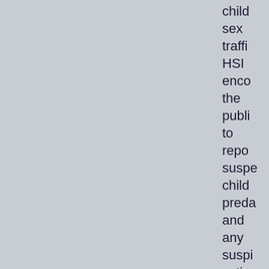child sex traffi HSI enco the publi to repo suspe child preda and any suspi activ throu its toll-free hotli